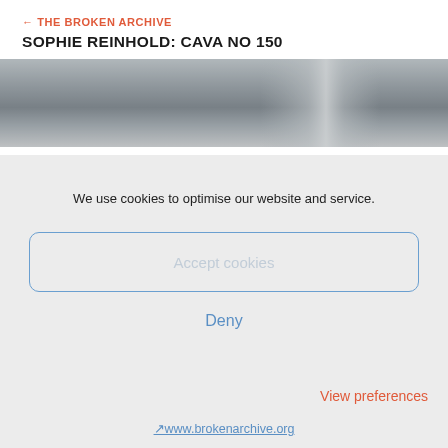← THE BROKEN ARCHIVE
SOPHIE REINHOLD: CAVA NO 150
[Figure (photo): Blurred horizontal photograph showing abstract grey tones, partial view of an artwork or interior space]
We use cookies to optimise our website and service.
Accept cookies
Deny
View preferences
↗www.brokenarchive.org